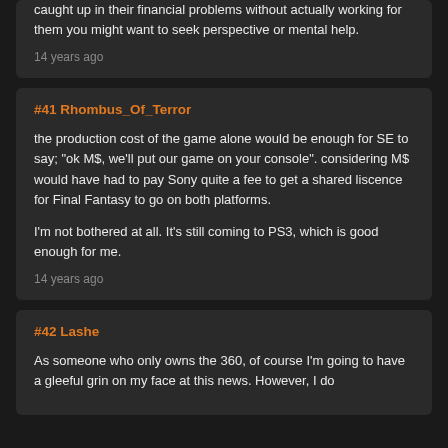caught up in their financial problems without actually working for them you might want to seek perspective or mental help.
14 years ago
#41 Rhombus_Of_Terror
the production cost of the game alone would be enough for SE to say; "ok M$, we'll put our game on your console". considering M$ would have had to pay Sony quite a fee to get a shared liscence for Final Fantasy to go on both platforms.

I'm not bothered at all. It's still coming to PS3, which is good enough for me.
14 years ago
#42 Lashe
As someone who only owns the 360, of course I'm going to have a gleeful grin on my face at this news. However, I do